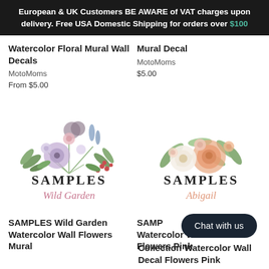European & UK Customers BE AWARE of VAT charges upon delivery. Free USA Domestic Shipping for orders over $100
Watercolor Floral Mural Wall Decals
MotoMoms
From $5.00
Mural Decal
MotoMoms
$5.00
[Figure (illustration): Watercolor floral bouquet with purple, pink, and green flowers labeled SAMPLES Wild Garden]
[Figure (illustration): Watercolor floral bouquet with peach, white, and green flowers labeled SAMPLES Abigail]
SAMPLES Wild Garden Watercolor Wall Flowers Mural
SAMPLES Abigail Collection Watercolor Wall Decal Flowers Pink